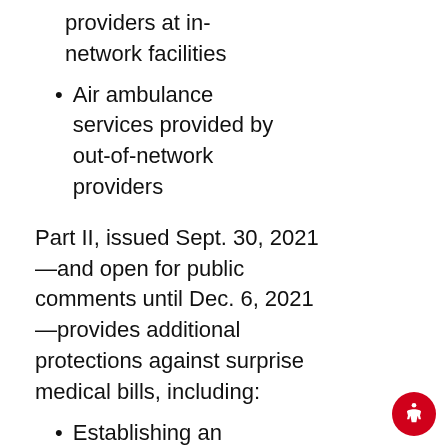providers at in-network facilities
Air ambulance services provided by out-of-network providers
Part II, issued Sept. 30, 2021 —and open for public comments until Dec. 6, 2021 —provides additional protections against surprise medical bills, including:
Establishing an independent dispute resolution process to determine out-of-